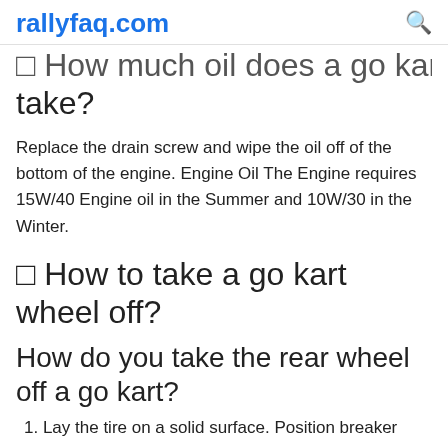rallyfaq.com
❓ How much oil does a go kart take?
Replace the drain screw and wipe the oil off of the bottom of the engine. Engine Oil The Engine requires 15W/40 Engine oil in the Summer and 10W/30 in the Winter.
❓ How to take a go kart wheel off?
How do you take the rear wheel off a go kart?
1. Lay the tire on a solid surface. Position breaker